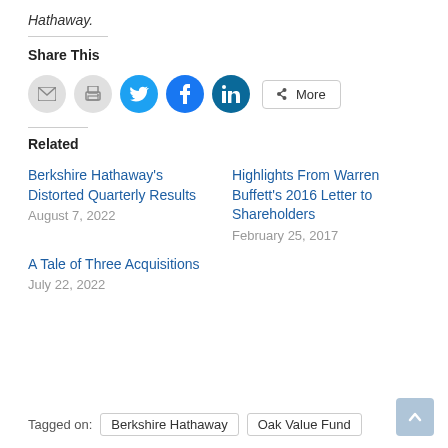Hathaway.
Share This
[Figure (infographic): Social share icons: email, print (gray circles), Twitter (blue), Facebook (dark blue), LinkedIn (dark teal), and a 'More' button]
Related
Berkshire Hathaway's Distorted Quarterly Results
August 7, 2022
Highlights From Warren Buffett's 2016 Letter to Shareholders
February 25, 2017
A Tale of Three Acquisitions
July 22, 2022
Tagged on: Berkshire Hathaway   Oak Value Fund